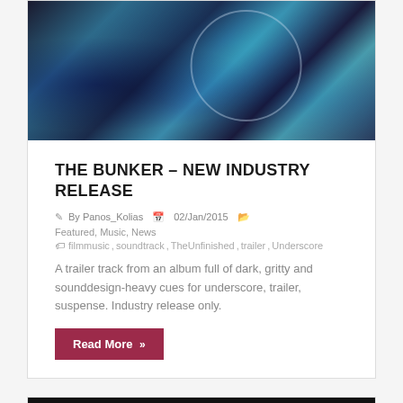[Figure (photo): Abstract dark blue and teal splatter/texture image used as article header for The Bunker music release]
THE BUNKER – NEW INDUSTRY RELEASE
By Panos_Kolias  02/Jan/2015  Featured, Music, News
filmmusic, soundtrack, TheUnfinished, trailer, Underscore
A trailer track from an album full of dark, gritty and sounddesign-heavy cues for underscore, trailer, suspense. Industry release only.
Read More »
[Figure (photo): Partial view of second article image, dark/black background]